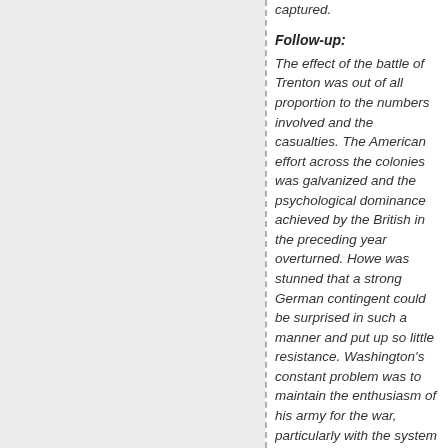captured.
Follow-up:
The effect of the battle of Trenton was out of all proportion to the numbers involved and the casualties. The American effort across the colonies was galvanized and the psychological dominance achieved by the British in the preceding year overturned. Howe was stunned that a strong German contingent could be surprised in such a manner and put up so little resistance. Washington's constant problem was to maintain the enthusiasm of his army for the war, particularly with the system of one year recruitment and Trenton proved a much needed